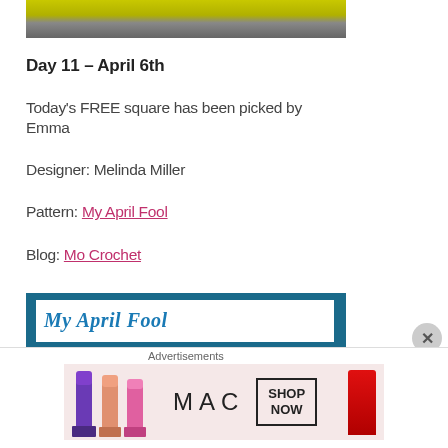[Figure (photo): Top portion of a knitted/crocheted item in yellow-green color on a gray background, cropped at top]
Day 11 – April 6th
Today's FREE square has been picked by Emma
Designer: Melinda Miller
Pattern: My April Fool
Blog: Mo Crochet
[Figure (screenshot): Book or pattern cover showing 'My April Fool' title in blue italic text on white background with dark teal border]
Advertisements
[Figure (photo): MAC cosmetics advertisement showing lipsticks in purple, peach, pink and red colors with MAC logo and SHOP NOW button]